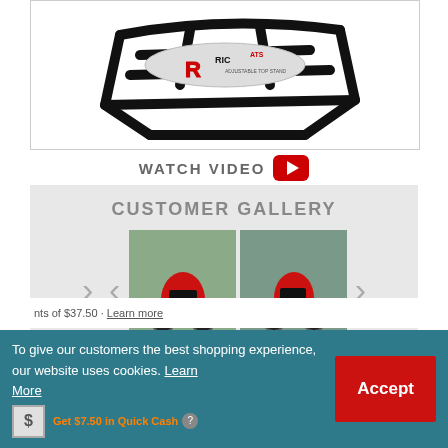[Figure (photo): Black metal motorcycle/dirt bike adjustable top stand product photo on white background. Brand name RIC ATS visible with red and white logo graphics.]
WATCH VIDEO
CUSTOMER GALLERY
[Figure (photo): Two thumbnail photos of red Honda dirt bikes placed on black RIC ATS adjustable top stands, shown outdoors on pavement.]
To give our customers the best shopping experience, our website uses cookies. Learn More
Accept
Get $7.50 in Quick Cash